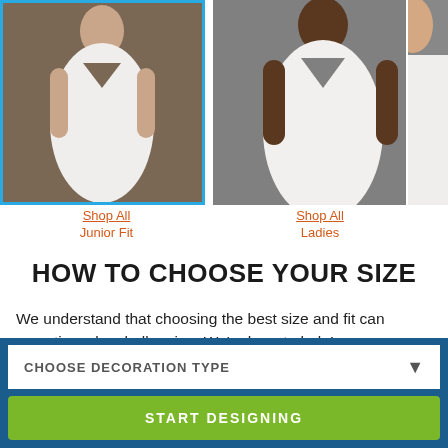[Figure (photo): Two product photos side by side showing women wearing white t-shirts. Left photo has blue border highlight indicating selection. Right photo shows a woman with darker skin tone.]
Shop All
Junior Fit
Shop All
Ladies
HOW TO CHOOSE YOUR SIZE
We understand that choosing the best size and fit can sometimes be challenging. We're here to help!
Just follow the simple steps below to select the best size for
CHOOSE DECORATION TYPE
START DESIGNING